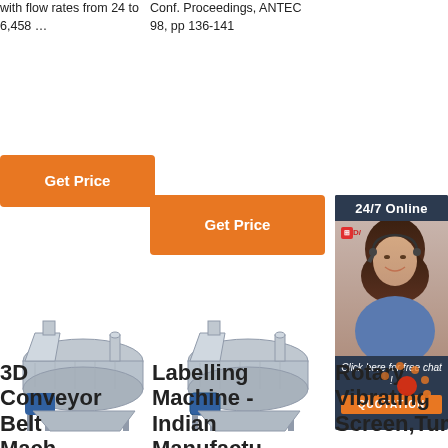with flow rates from 24 to 6,458 …
Conf. Proceedings, ANTEC 98, pp 136-141
Get Price
Get Price
[Figure (screenshot): 24/7 Online live chat advertisement panel with female customer service representative wearing headset, 'Click here for free chat!' text, and orange QUOTATION button]
[Figure (photo): Industrial 3D conveyor belt machine - stainless steel vibrating screen equipment]
[Figure (photo): Industrial labelling machine - Indian manufactured vibrating/screening equipment]
3D Conveyor Belt Mach...
Labelling Machine - Indian Manufactu...
Rotary Vibrating Screen,Tum...